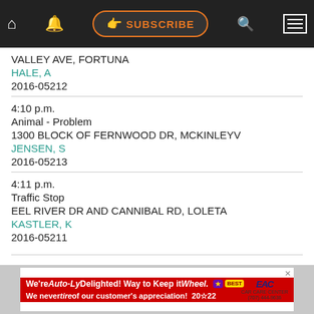SUBSCRIBE navigation bar
VALLEY AVE, FORTUNA
HALE, A
2016-05212
4:10 p.m.
Animal - Problem
1300 BLOCK OF FERNWOOD DR, MCKINLEYV
JENSEN, S
2016-05213
4:11 p.m.
Traffic Stop
EEL RIVER DR AND CANNIBAL RD, LOLETA
KASTLER, K
2016-05211
[Figure (infographic): Advertisement banner: 'We're Auto-Ly Delighted! Way to Keep it Wheel. We never tire of our customer's appreciation! 2022 Best. EAC Car Care Center (707) 444-9636']